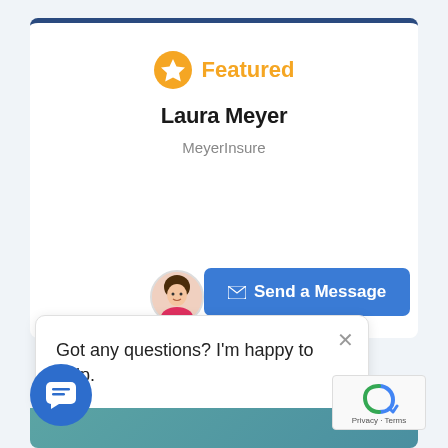[Figure (screenshot): Insurance agent profile page screenshot showing Laura Meyer from MeyerInsure as a Featured agent, with a Send a Message button, a chat popup saying 'Got any questions? I'm happy to help.', a chat icon button, and a reCAPTCHA badge.]
Featured
Laura Meyer
MeyerInsure
Send a Message
Got any questions? I'm happy to help.
Privacy · Terms